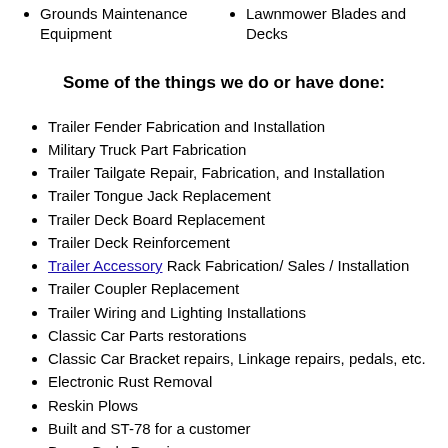Grounds Maintenance Equipment
Lawnmower Blades and Decks
Some of the things we do or have done:
Trailer Fender Fabrication and Installation
Military Truck Part Fabrication
Trailer Tailgate Repair, Fabrication, and Installation
Trailer Tongue Jack Replacement
Trailer Deck Board Replacement
Trailer Deck Reinforcement
Trailer Accessory Rack Fabrication/ Sales / Installation
Trailer Coupler Replacement
Trailer Wiring and Lighting Installations
Classic Car Parts restorations
Classic Car Bracket repairs, Linkage repairs, pedals, etc.
Electronic Rust Removal
Reskin Plows
Built and ST-78 for a customer
Dump Body Repairs
Dump Truck Lighting Installation and Upgrades
Garden Tractor Plow Fabrication and Repairs
Mower Deck repairs, blade sharpening and balancing